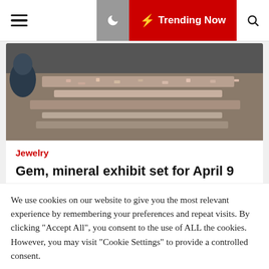Trending Now
[Figure (photo): Overhead view of gem and mineral display tables at a show, with people browsing]
Jewelry
Gem, mineral exhibit set for April 9
Katheleen Knopf  ⏱ 5 months ago
...
[Figure (photo): Wide-angle interior view of a large gem and mineral show in a convention hall, with many vendor tables and visitors]
We use cookies on our website to give you the most relevant experience by remembering your preferences and repeat visits. By clicking "Accept All", you consent to the use of ALL the cookies. However, you may visit "Cookie Settings" to provide a controlled consent.